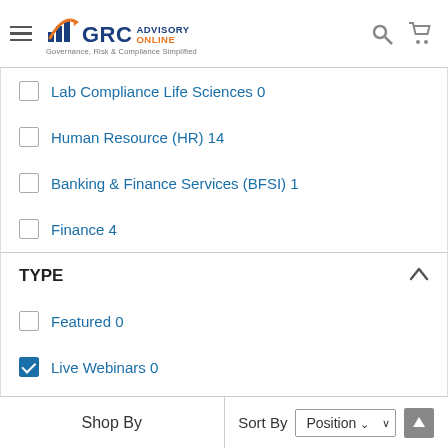[Figure (logo): GRC Advisory Online logo with bar chart icon and tagline 'Governance, Risk & Compliance Simplified']
Lab Compliance Life Sciences 0
Human Resource (HR) 14
Banking & Finance Services (BFSI) 1
Finance 4
TYPE
Featured 0
Live Webinars 0
Seminars 0
Standards 0
Recorded CDs 16
Shop By   Sort By  Position